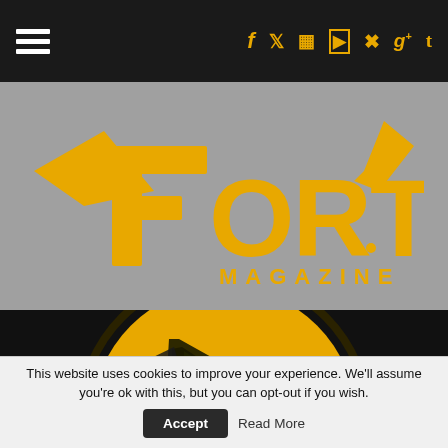Navigation bar with hamburger menu and social icons (f, twitter, instagram, youtube, pinterest, google+, tumblr)
[Figure (logo): Fortitude Magazine logo in golden/amber color on grey background. Wing-style F lettering with 'FORTITUDE' in large block letters and 'MAGAZINE' below in smaller caps.]
[Figure (logo): Fortitude Magazine circular badge logo on dark/black background. Large golden circle with camouflage texture pattern containing a stylized arrow/F mark in dark color.]
This website uses cookies to improve your experience. We'll assume you're ok with this, but you can opt-out if you wish.
Accept
Read More